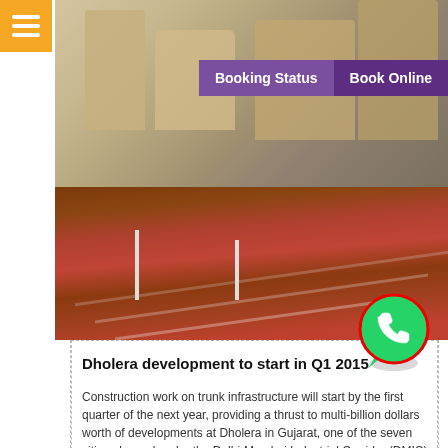[Figure (screenshot): Navigation bar with orange hamburger menu icon on top left and purple Booking Status and Book Online buttons on top right]
[Figure (photo): Architectural rendering of Dholera infrastructure with roads and elevated structures]
Dholera development to start in Q1 2015
Construction work on trunk infrastructure will start by the first quarter of the next year, providing a thrust to multi-billion dollars worth of developments at Dholera in Gujarat, one of the seven cities planned under the Delhi-Mumbai Industrial Corridor (DMIC), a senior project official said today. The trunk infrastructure includes roads, all underground utilities....
Read More
[Figure (photo): Orange/golden cloudy sky photo at the bottom of the page]
[Figure (illustration): WhatsApp phone icon button - green circle with white phone handset]